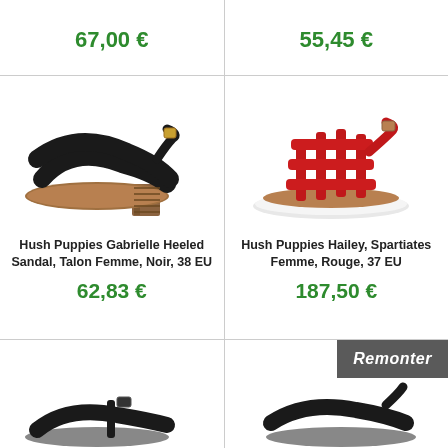67,00 €
55,45 €
[Figure (photo): Hush Puppies Gabrielle Heeled Sandal - black leather cross-strap heeled sandal]
Hush Puppies Gabrielle Heeled Sandal, Talon Femme, Noir, 38 EU
62,83 €
[Figure (photo): Hush Puppies Hailey Spartiates - red strappy sandal with white sole]
Hush Puppies Hailey, Spartiates Femme, Rouge, 37 EU
187,50 €
[Figure (photo): Black sandal - partial view, bottom row left]
[Figure (photo): Black sandal - partial view, bottom row right]
Remonter